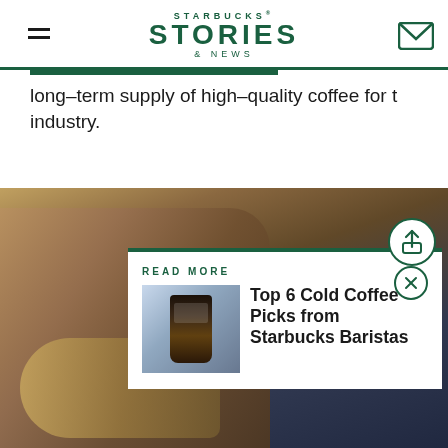STARBUCKS STORIES & NEWS
long-term supply of high-quality coffee for t industry.
[Figure (photo): A hand holding coffee beans with a burlap sack in background, dark blue and brown tones]
READ MORE
Top 6 Cold Coffee Picks from Starbucks Baristas
[Figure (photo): Thumbnail image of a Starbucks iced coffee drink]